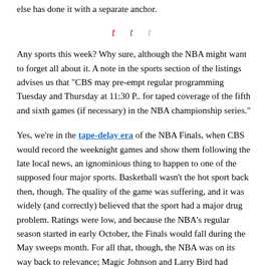else has done it with a separate anchor.
t  t  t
Any sports this week? Why sure, although the NBA might want to forget all about it. A note in the sports section of the listings advises us that "CBS may pre-empt regular programming Tuesday and Thursday at 11:30 P.. for taped coverage of the fifth and sixth games (if necessary) in the NBA championship series."
Yes, we're in the tape-delay era of the NBA Finals, when CBS would record the weeknight games and show them following the late local news, an ignominious thing to happen to one of the supposed four major sports. Basketball wasn't the hot sport back then, though. The quality of the game was suffering, and it was widely (and correctly) believed that the sport had a major drug problem. Ratings were low, and because the NBA's regular season started in early October, the Finals would fall during the May sweeps month. For all that, though, the NBA was on its way back to relevance; Magic Johnson and Larry Bird had entered the league at the